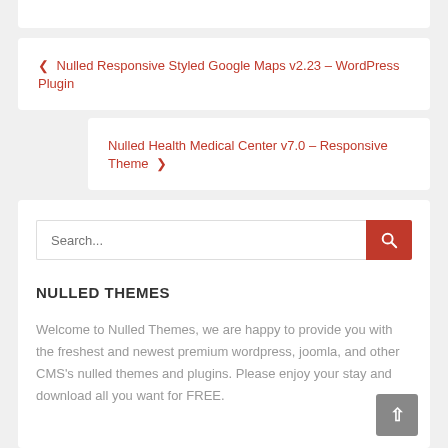❮ Nulled Responsive Styled Google Maps v2.23 – WordPress Plugin
Nulled Health Medical Center v7.0 – Responsive Theme ❯
Search...
NULLED THEMES
Welcome to Nulled Themes, we are happy to provide you with the freshest and newest premium wordpress, joomla, and other CMS's nulled themes and plugins. Please enjoy your stay and download all you want for FREE.